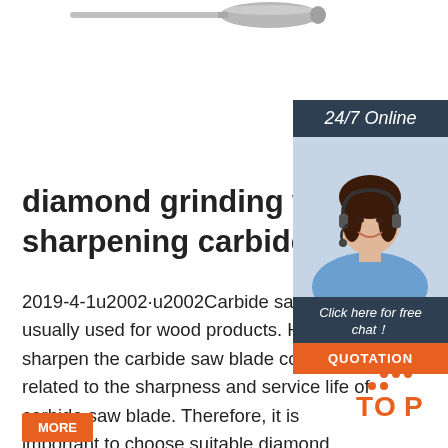[Figure (photo): A cylindrical rotary carbide burr / grinding tool bit shown horizontally at the top of the page]
[Figure (photo): Sidebar with dark blue background showing '24/7 Online' text, a photo of a smiling woman with a headset, 'Click here for free chat!' text, and an orange QUOTATION button]
diamond grinding wheels for sharpening carbide saw
2019-4-1u2002·u2002Carbide saw blades are usually used for wood products. However, to sharpen the carbide saw blade correctly is related to the sharpness and service life of carbide saw blade. Therefore, it is important to choose suitable diamond grinding wheels for sharpening carbide saw blades except for technology.
[Figure (logo): Orange and white TOP badge/logo with dot pattern in bottom right corner]